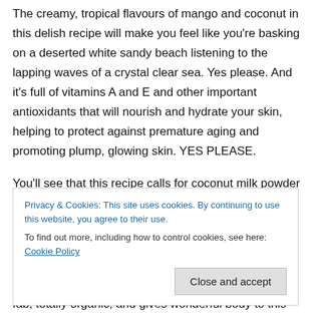The creamy, tropical flavours of mango and coconut in this delish recipe will make you feel like you're basking on a deserted white sandy beach listening to the lapping waves of a crystal clear sea. Yes please. And it's full of vitamins A and E and other important antioxidants that will nourish and hydrate your skin, helping to protect against premature aging and promoting plump, glowing skin. YES PLEASE.
You'll see that this recipe calls for coconut milk powder – something some of you may not have come across before (I doubt it). It's basically coconut milk in powder form, which is fab, totally organic, and gives wonderful body to this
Privacy & Cookies: This site uses cookies. By continuing to use this website, you agree to their use.
To find out more, including how to control cookies, see here: Cookie Policy
Close and accept